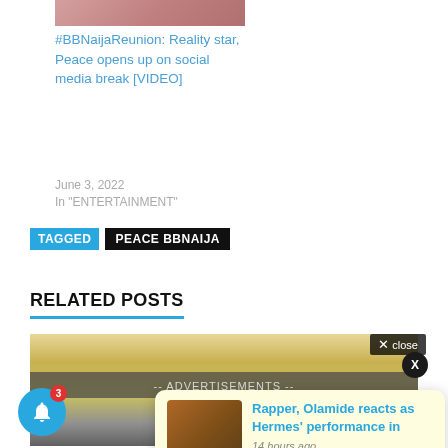[Figure (photo): Cropped image of a person at the top of a card]
#BBNaijaReunion: Reality star, Peace opens up on social media break [VIDEO]
June 3, 2022
In "ENTERTAINMENT"
TAGGED  PEACE BBNAIJA
RELATED POSTS
[Figure (photo): Related post thumbnail image — person with golden/warm tones]
-- ADVERTISEMENTS --
[Figure (photo): Rapper Olamide and Hermes notification popup thumbnail]
Rapper, Olamide reacts as Hermes' performance in
14 hours ago